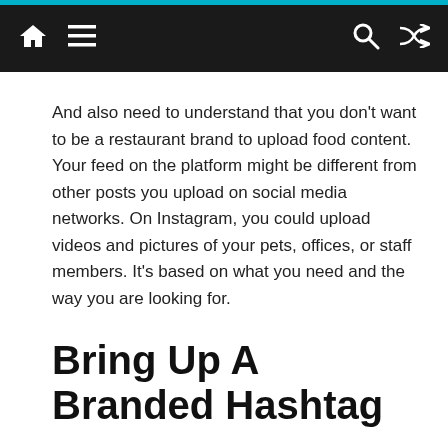Navigation bar with home, menu, search, and shuffle icons
And also need to understand that you don't want to be a restaurant brand to upload food content. Your feed on the platform might be different from other posts you upload on social media networks. On Instagram, you could upload videos and pictures of your pets, offices, or staff members. It's based on what you need and the way you are looking for.
Bring Up A Branded Hashtag